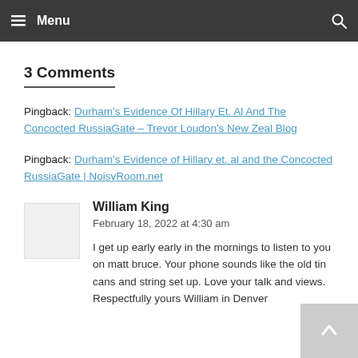Menu
3 Comments
Pingback: Durham's Evidence Of Hillary Et. Al And The Concocted RussiaGate – Trevor Loudon's New Zeal Blog
Pingback: Durham's Evidence of Hillary et. al and the Concocted RussiaGate | NoisyRoom.net
William King
February 18, 2022 at 4:30 am
I get up early early in the mornings to listen to you on matt bruce. Your phone sounds like the old tin cans and string set up. Love your talk and views. Respectfully yours William in Denver